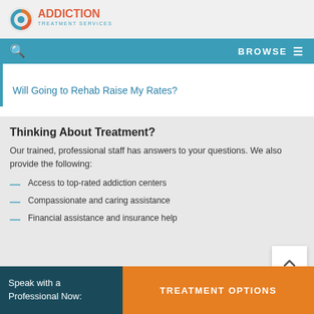[Figure (logo): Addiction Treatment Services logo with swirl icon and text]
BROWSE
Will Going to Rehab Raise My Rates?
Thinking About Treatment?
Our trained, professional staff has answers to your questions. We also provide the following:
Access to top-rated addiction centers
Compassionate and caring assistance
Financial assistance and insurance help
Speak with a Professional Now:
TREATMENT OPTIONS